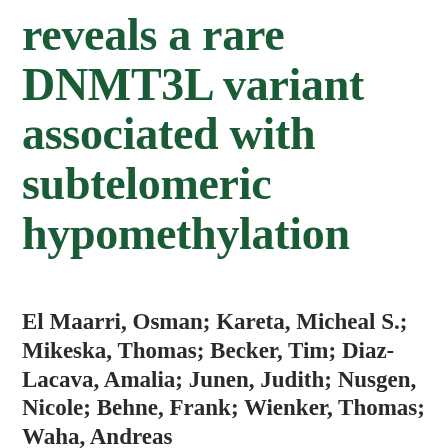reveals a rare DNMT3L variant associated with subtelomeric hypomethylation
El Maarri, Osman; Kareta, Micheal S.; Mikeska, Thomas; Becker, Tim; Diaz-Lacava, Amalia; Junen, Judith; Nusgen, Nicole; Behne, Frank; Wienker, Thomas; Waha, Andreas